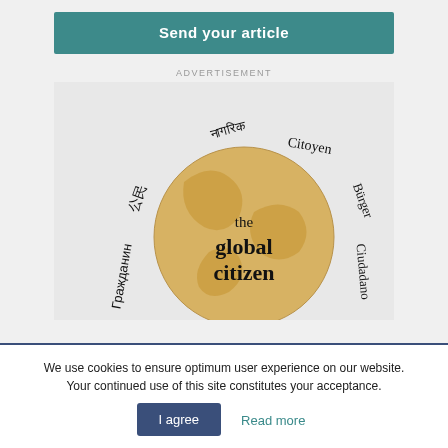[Figure (other): Teal/green button with text 'Send your article']
ADVERTISEMENT
[Figure (logo): The Global Citizen logo: a golden globe with the text 'the global citizen' in the center, surrounded by the word 'citizen' in multiple languages: Hindi (नागरिक), French (Citoyen), German (Bürger), Spanish (Ciudadano), Russian (Гражданин), Chinese (公民)]
We use cookies to ensure optimum user experience on our website. Your continued use of this site constitutes your acceptance.
I agree
Read more